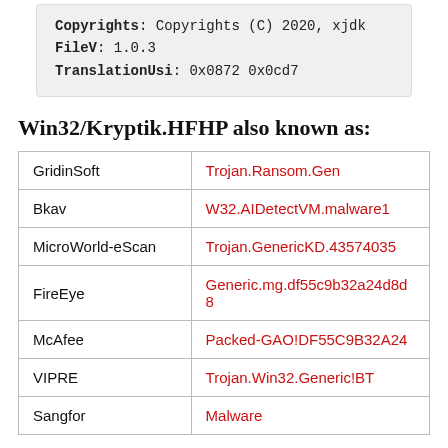Copyrights: Copyrights (C) 2020, xjdk
FileV: 1.0.3
TranslationUsi: 0x0872 0x0cd7
Win32/Kryptik.HFHP also known as:
| Vendor | Detection Name |
| --- | --- |
| GridinSoft | Trojan.Ransom.Gen |
| Bkav | W32.AIDetectVM.malware1 |
| MicroWorld-eScan | Trojan.GenericKD.43574035 |
| FireEye | Generic.mg.df55c9b32a24d8d8 |
| McAfee | Packed-GAO!DF55C9B32A24 |
| VIPRE | Trojan.Win32.Generic!BT |
| Sangfor | Malware |